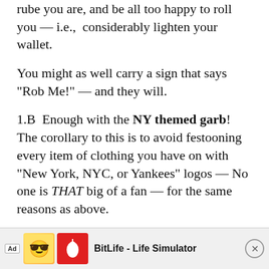rube you are, and be all too happy to roll you — i.e.,  considerably lighten your wallet.
You might as well carry a sign that says “Rob Me!” — and they will.
1.B  Enough with the NY themed garb! The corollary to this is to avoid festooning every item of clothing you have on with “New York, NYC, or Yankees” logos — No one is THAT big of a fan — for the same reasons as above.
~~~
2.  BATHROOMS:  Here’s the thing: There just aren’t many public bathrooms in NYC.
Why? Its a long story, which I don’t have time to go into, but there just aren’t that many Mak...
[Figure (screenshot): Ad banner at bottom: BitLife - Life Simulator advertisement with emoji icon and red box icon, close button on right]